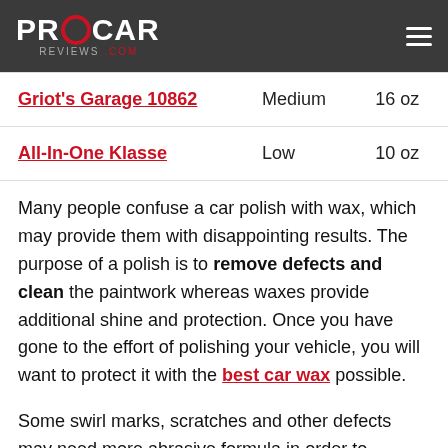PROCAR REVIEWS.COM
| Product | Abrasion | Size |
| --- | --- | --- |
| Griot's Garage 10862 | Medium | 16 oz |
| All-In-One Klasse | Low | 10 oz |
Many people confuse a car polish with wax, which may provide them with disappointing results. The purpose of a polish is to remove defects and clean the paintwork whereas waxes provide additional shine and protection. Once you have gone to the effort of polishing your vehicle, you will want to protect it with the best car wax possible.
Some swirl marks, scratches and other defects may need more abrasive formula in order to remove them.